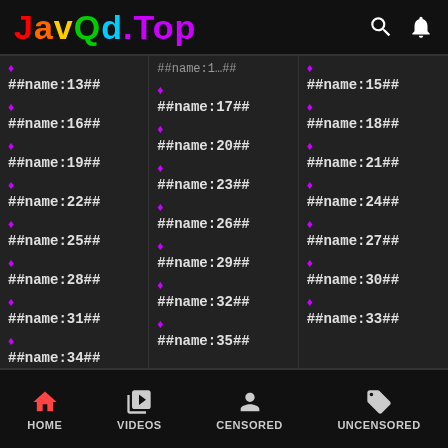JavQd.Top
##name:13##
##name:14## (partial)
##name:15##
##name:16##
##name:17##
##name:18##
##name:19##
##name:20##
##name:21##
##name:22##
##name:23##
##name:24##
##name:25##
##name:26##
##name:27##
##name:28##
##name:29##
##name:30##
##name:31##
##name:32##
##name:33##
##name:34##
##name:35##
HOME | VIDEOS | CENSORED | UNCENSORED